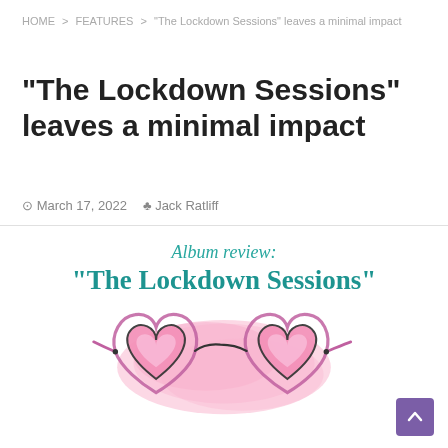HOME > FEATURES > “The Lockdown Sessions” leaves a minimal impact
“The Lockdown Sessions” leaves a minimal impact
March 17, 2022  Jack Ratliff
[Figure (illustration): Album review graphic with teal text reading 'Album review: "The Lockdown Sessions"' above an illustration of heart-shaped pink sunglasses with a pink watercolor splash background]